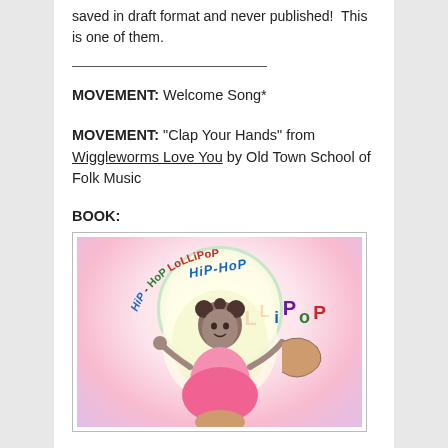saved in draft format and never published!  This is one of them.
MOVEMENT: Welcome Song*
MOVEMENT: “Clap Your Hands” from Wiggleworms Love You by Old Town School of Folk Music
BOOK:
[Figure (illustration): Book cover of 'Hip-Hop Lollipop' showing a young girl with curly hair with colorful stylized title text arched around her, pastel swirling background]